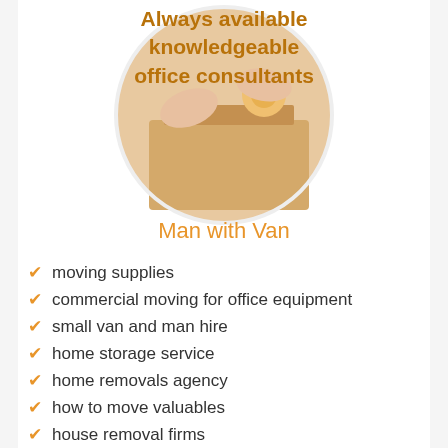[Figure (photo): Circular cropped photo of hands taping a moving box, with orange/gold bold text overlay reading 'Always available knowledgeable office consultants']
Always available knowledgeable office consultants
Man with Van
moving supplies
commercial moving for office equipment
small van and man hire
home storage service
home removals agency
how to move valuables
house removal firms